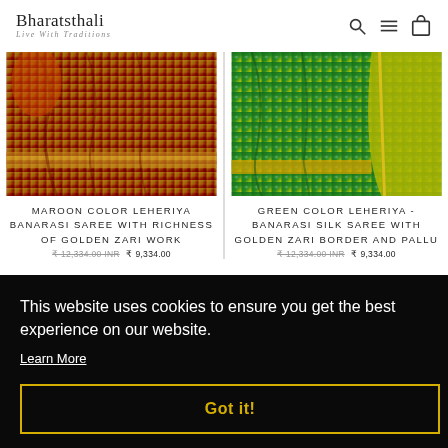Bharatsthali — Live With Traditions
[Figure (photo): Maroon color Leheriya Banarasi saree with golden zari border, close-up of draped fabric on floor]
MAROON COLOR LEHERIYA BANARASI SAREE WITH RICHNESS OF GOLDEN ZARI WORK
₹12,334.00 INR ₹9,334.00
[Figure (photo): Green color Leheriya Banarasi silk saree with golden zari border and pallu, fabric draped and folded]
GREEN COLOR LEHERIYA - BANARASI SILK SAREE WITH GOLDEN ZARI BORDER AND PALLU
₹12,334.00 INR ₹9,334.00
This website uses cookies to ensure you get the best experience on our website.
Learn More
Got it!